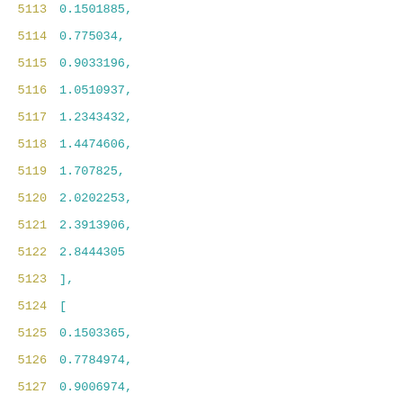5113    0.1501885,
5114    0.775034,
5115    0.9033196,
5116    1.0510937,
5117    1.2343432,
5118    1.4474606,
5119    1.707825,
5120    2.0202253,
5121    2.3913906,
5122    2.8444305
5123    ],
5124    [
5125    0.1503365,
5126    0.7784974,
5127    0.9006974,
5128    1.0544917,
5129    1.2325492,
5130    1.4465856,
5131    1.7095944,
5132    2.0169282,
5133    2.3906195,